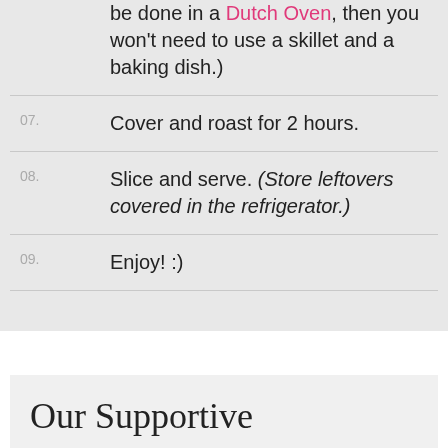be done in a Dutch Oven, then you won't need to use a skillet and a baking dish.)
07. Cover and roast for 2 hours.
08. Slice and serve. (Store leftovers covered in the refrigerator.)
09. Enjoy! :)
Our Supportive